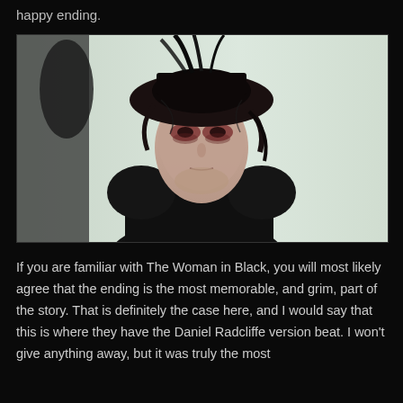happy ending.
[Figure (photo): A pale woman wearing all black Victorian-era clothing and a large black hat with feathers, looking solemnly at the camera. She has hollow, dark-rimmed eyes. This appears to be a still from the film The Woman in Black.]
If you are familiar with The Woman in Black, you will most likely agree that the ending is the most memorable, and grim, part of the story. That is definitely the case here, and I would say that this is where they have the Daniel Radcliffe version beat. I won't give anything away, but it was truly the most